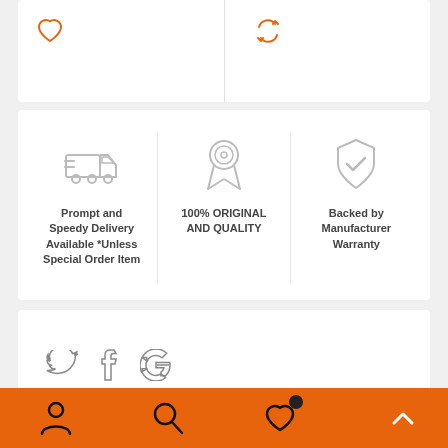[Figure (screenshot): Top white card with heart icon and refresh/compare icon separated by a vertical divider line]
[Figure (infographic): Three feature columns: delivery truck icon with 'Prompt and Speedy Delivery Available *Unless Special Order Item', award ribbon icon with '100% ORIGINAL AND QUALITY', shield/checkmark icon with 'Backed by Manufacturer Warranty']
Prompt and Speedy Delivery Available *Unless Special Order Item
100% ORIGINAL AND QUALITY
Backed by Manufacturer Warranty
[Figure (screenshot): Social sharing card with Twitter, Facebook, and Google icons]
[Figure (screenshot): Orange bottom navigation bar with person/account, search, favorites (with badge), and compare (with badge) icons]